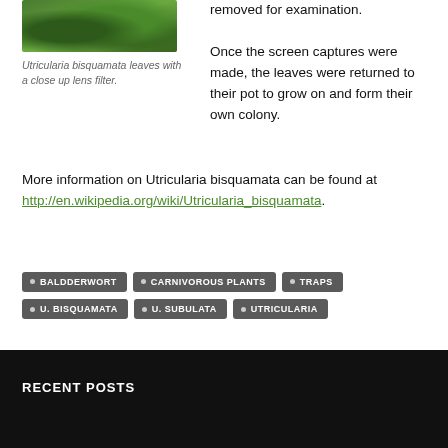[Figure (photo): Close-up photo of Utricularia bisquamata leaves with green foliage]
Utricularia bisquamata leaves with a close up lens filter.
removed for examination.

Once the screen captures were made, the leaves were returned to their pot to grow on and form their own colony.
More information on Utricularia bisquamata can be found at http://en.wikipedia.org/wiki/Utricularia_bisquamata.
BALDDERWORT
CARNIVOROUS PLANTS
TRAPS
U. BISQUAMATA
U. SUBULATA
UTRICULARIA
RECENT POSTS